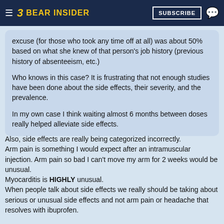BEAR INSIDER | SUBSCRIBE
excuse (for those who took any time off at all) was about 50% based on what she knew of that person's job history (previous history of absenteeism, etc.)
Who knows in this case? It is frustrating that not enough studies have been done about the side effects, their severity, and the prevalence.
In my own case I think waiting almost 6 months between doses really helped alleviate side effects.
Also, side effects are really being categorized incorrectly.
Arm pain is something I would expect after an intramuscular injection. Arm pain so bad I can't move my arm for 2 weeks would be unusual.
Myocarditis is HIGHLY unusual.
When people talk about side effects we really should be taking about serious or unusual side effects and not arm pain or headache that resolves with ibuprofen.